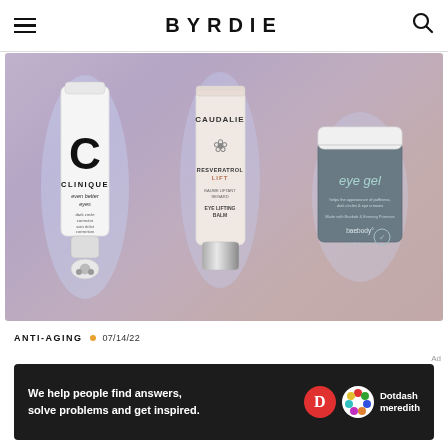BYRDIE
[Figure (photo): Three eye cream/gel products displayed on a soft purple-pink gradient background: Clinique Even Better Eyes dark circle corrector tube (left), Caudalie Resveratrol Lift eye lifting balm tube (center), and Baebody Eye Gel jar (right), each with a soft blue glow highlight.]
ANTI-AGING • 07/14/22
We help people find answers, solve problems and get inspired.
Dotdash meredith